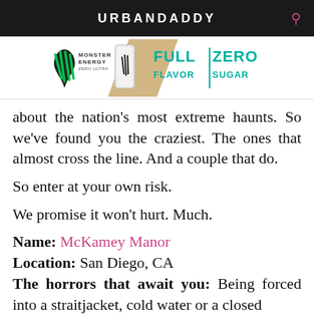URBANDADDY
[Figure (logo): Monster Energy Zero Ultra advertisement banner: Monster Energy logo with claw mark, product can image, and text 'FULL FLAVOR | ZERO SUGAR' in teal/green]
about the nation's most extreme haunts. So we've found you the craziest. The ones that almost cross the line. And a couple that do.
So enter at your own risk.
We promise it won't hurt. Much.
Name: McKamey Manor
Location: San Diego, CA
The horrors that await you: Being forced into a straitjacket, cold water or a closed